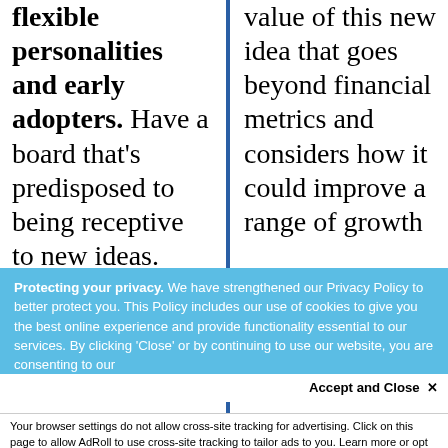flexible personalities and early adopters. Have a board that's predisposed to being receptive to new ideas. CEOs should...
value of this new idea that goes beyond financial metrics and considers how it could improve a range of growth which can be hand...
Protecting your privacy. We have strengthened our Privacy Policy to better protect you. This Policy includes our use of cookies to give you the best online experience and provide functionality essential to our services. By clicking 'Close' or by continuing to use our website, you are consenting to our
Accept and Close ×
Your browser settings do not allow cross-site tracking for advertising. Click on this page to allow AdRoll to use cross-site tracking to tailor ads to you. Learn more or opt out of this AdRoll tracking by clicking here. This message only appears once.